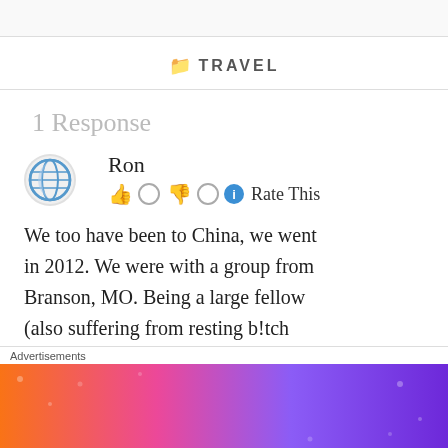TRAVEL
1 Response
Ron
👍 0  👎 0  ℹ Rate This
We too have been to China, we went in 2012. We were with a group from Branson, MO. Being a large fellow (also suffering from resting bltch
Advertisements
[Figure (illustration): Fandom on Tumblr advertisement banner with colorful gradient background]